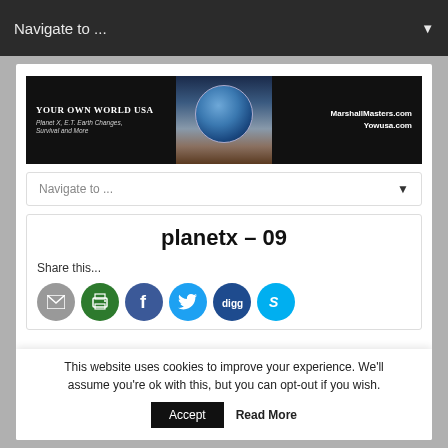Navigate to ...
[Figure (illustration): Your Own World USA website banner showing Earth from moon surface. Left: site title and subtitle. Center: Earth globe image. Right: MarshallMasters.com / Yowusa.com URLs.]
Navigate to ...
planetx – 09
Share this...
[Figure (infographic): Social share buttons: email (grey), print (green), facebook (blue), twitter (light blue), digg (dark blue), skype (sky blue)]
This website uses cookies to improve your experience. We'll assume you're ok with this, but you can opt-out if you wish.
Accept  Read More